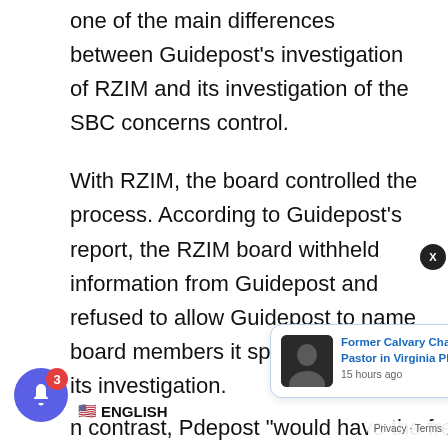one of the main differences between Guidepost’s investigation of RZIM and its investigation of the SBC concerns control.
With RZIM, the board controlled the process. According to Guidepost’s report, the RZIM board withheld information from Guidepost and refused to allow Guidepost to name board members it spoke to during its investigation.
[Figure (photo): Notification popup showing a photo of a man and text: 'Former Calvary Chapel Pastor in Virginia Pleads', 15 hours ago. A close button (X) appears at top right of the popup.]
n contrast, P... depost “would have the freed